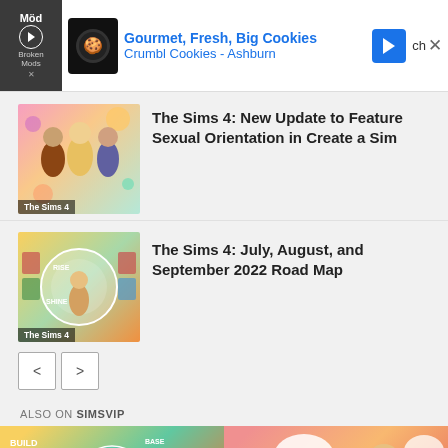[Figure (screenshot): Advertisement banner: Crumbl Cookies - Ashburn. Shows 'Gourmet, Fresh, Big Cookies' and 'Crumbl Cookies - Ashburn' with cookie logo icon and navigation arrow icon.]
[Figure (photo): Thumbnail image for The Sims 4 article showing colorful Sims characters with label 'The Sims 4' at bottom]
The Sims 4: New Update to Feature Sexual Orientation in Create a Sim
[Figure (photo): Thumbnail image for The Sims 4 July-September 2022 Road Map article showing Rise & Shine promotional art with label 'The Sims 4' at bottom]
The Sims 4: July, August, and September 2022 Road Map
< >
ALSO ON SIMSVIP
[Figure (photo): Bottom preview thumbnail 1: Build Kit E&S promotional image with teal and yellow colors]
[Figure (photo): Bottom preview thumbnail 2: Sexual orientation update preview with Sims characters on coral/orange background]